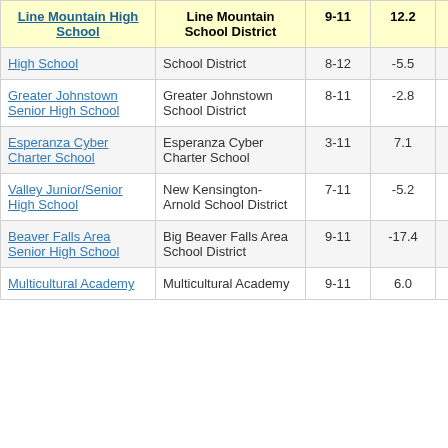| Line Mountain High School | Line Mountain School District | 9-11 | 12.2 | 3 |
| --- | --- | --- | --- | --- |
| High School | School District | 8-12 | -5.5 |  |
| Greater Johnstown Senior High School | Greater Johnstown School District | 8-11 | -2.8 |  |
| Esperanza Cyber Charter School | Esperanza Cyber Charter School | 3-11 | 7.1 |  |
| Valley Junior/Senior High School | New Kensington-Arnold School District | 7-11 | -5.2 |  |
| Beaver Falls Area Senior High School | Big Beaver Falls Area School District | 9-11 | -17.4 |  |
| Multicultural Academy | Multicultural Academy | 9-11 | 6.0 |  |